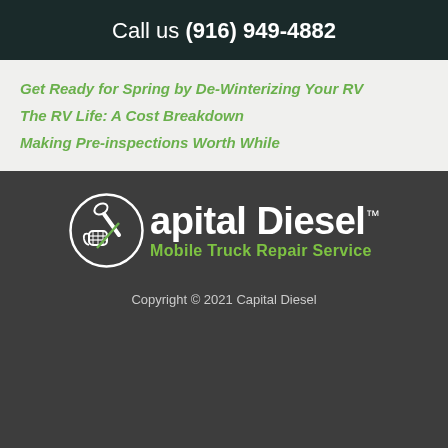Call us (916) 949-4882
Get Ready for Spring by De-Winterizing Your RV
The RV Life: A Cost Breakdown
Making Pre-inspections Worth While
[Figure (logo): Capital Diesel Mobile Truck Repair Service logo with wrench and hand icon in a circle]
Copyright © 2021 Capital Diesel